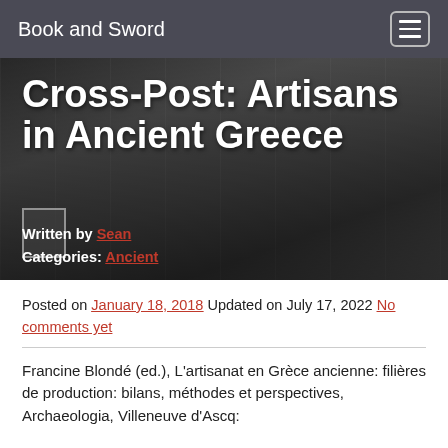Book and Sword
Cross-Post: Artisans in Ancient Greece
Written by Sean
Categories: Ancient
Posted on January 18, 2018 Updated on July 17, 2022 No comments yet
Francine Blondé (ed.), L'artisanat en Grèce ancienne: filières de production: bilans, méthodes et perspectives, Archaeologia, Villeneuve d'Ascq: